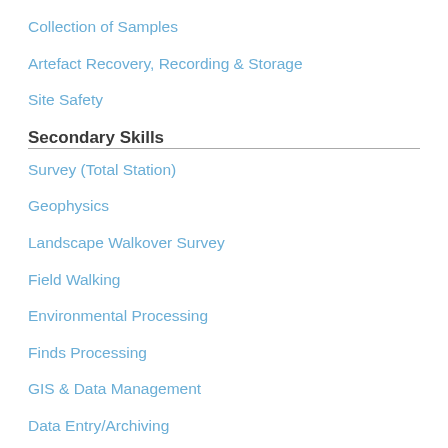Collection of Samples
Artefact Recovery, Recording & Storage
Site Safety
Secondary Skills
Survey (Total Station)
Geophysics
Landscape Walkover Survey
Field Walking
Environmental Processing
Finds Processing
GIS & Data Management
Data Entry/Archiving
Excavation and Lifting Skeleton